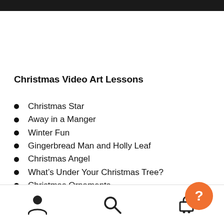Christmas Video Art Lessons
Christmas Star
Away in a Manger
Winter Fun
Gingerbread Man and Holly Leaf
Christmas Angel
What’s Under Your Christmas Tree?
Christmas Ornaments